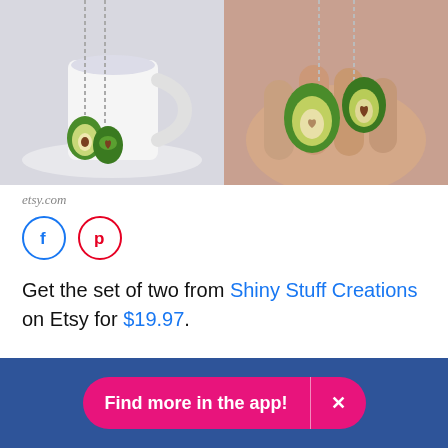[Figure (photo): Two photos side by side: left shows two avocado-shaped pendant necklaces hanging in front of a white coffee cup on a saucer with white background; right shows the same two avocado necklaces held in a person's hand.]
etsy.com
[Figure (other): Social sharing icons: Facebook (blue circle with f) and Pinterest (red circle with p)]
Get the set of two from Shiny Stuff Creations on Etsy for $19.97.
Find more in the app!  ×